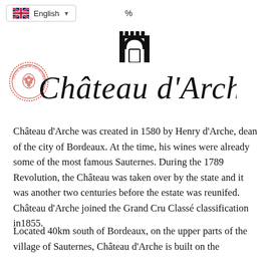English % (language selector with UK flag and dropdown)
[Figure (logo): Château d'Arche logo: black arch/gate icon above ornate italic script reading 'Château d'Arche', with a circular red Sauternes seal on the left]
Château d'Arche was created in 1580 by Henry d'Arche, dean of the city of Bordeaux. At the time, his wines were already some of the most famous Sauternes. During the 1789 Revolution, the Château was taken over by the state and it was another two centuries before the estate was reunifed. Château d'Arche joined the Grand Cru Classé classification in1855.
Located 40km south of Bordeaux, on the upper parts of the village of Sauternes, Château d'Arche is built on the opposite of hills, which are chalky in composition.